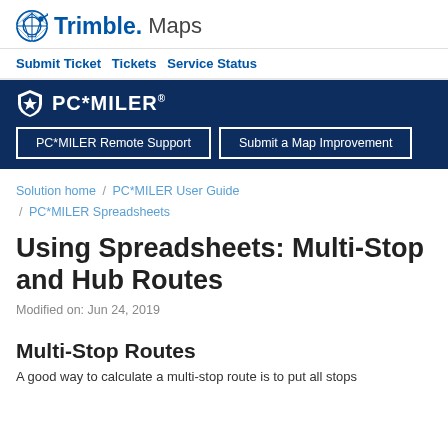Trimble Maps
Submit Ticket  Tickets  Service Status
[Figure (logo): PC*MILER logo with shield icon on dark navy blue banner background, with buttons: PC*MILER Remote Support and Submit a Map Improvement]
Solution home / PC*MILER User Guide / PC*MILER Spreadsheets
Using Spreadsheets: Multi-Stop and Hub Routes
Modified on: Jun 24, 2019
Multi-Stop Routes
A good way to calculate a multi-stop route is to put all stops